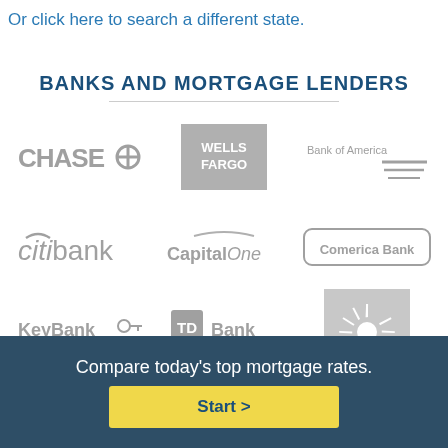Or click here to search a different state.
BANKS AND MORTGAGE LENDERS
[Figure (logo): Chase bank logo in gray]
[Figure (logo): Wells Fargo logo in gray square]
[Figure (logo): Bank of America logo in gray]
[Figure (logo): Citibank logo in gray]
[Figure (logo): Capital One logo in gray]
[Figure (logo): Comerica Bank logo in gray]
[Figure (logo): KeyBank logo in gray]
[Figure (logo): TD Bank logo in gray]
[Figure (logo): Radiating sun/light logo in gray]
Compare today's top mortgage rates.
Start >